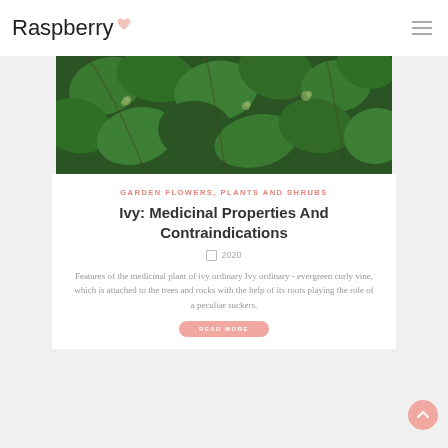Raspberry
[Figure (photo): Close-up photo of ivy plant with green leaves and small clustered flowers/seeds]
GARDEN FLOWERS, PLANTS AND SHRUBS
Ivy: Medicinal Properties And Contraindications
2020
Features of the medicinal plant of ivy ordinary Ivy ordinary - evergreen curly vine, which is attached to the trees and rocks with the help of its roots playing the role of a peculiar suckers.
READ MORE